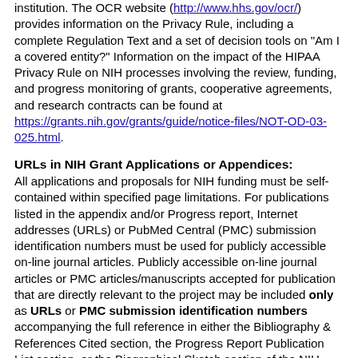institution. The OCR website (http://www.hhs.gov/ocr/) provides information on the Privacy Rule, including a complete Regulation Text and a set of decision tools on "Am I a covered entity?" Information on the impact of the HIPAA Privacy Rule on NIH processes involving the review, funding, and progress monitoring of grants, cooperative agreements, and research contracts can be found at https://grants.nih.gov/grants/guide/notice-files/NOT-OD-03-025.html.
URLs in NIH Grant Applications or Appendices:
All applications and proposals for NIH funding must be self-contained within specified page limitations. For publications listed in the appendix and/or Progress report, Internet addresses (URLs) or PubMed Central (PMC) submission identification numbers must be used for publicly accessible on-line journal articles. Publicly accessible on-line journal articles or PMC articles/manuscripts accepted for publication that are directly relevant to the project may be included only as URLs or PMC submission identification numbers accompanying the full reference in either the Bibliography & References Cited section, the Progress Report Publication List section, or the Biographical Sketch section of the NIH grant application. A URL or PMC submission identification number citation may be repeated in each of these sections as appropriate. There is no limit to the number of URLs or